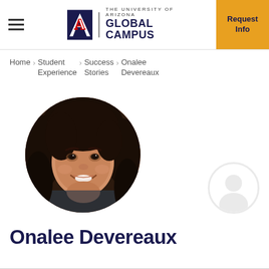THE UNIVERSITY OF ARIZONA GLOBAL CAMPUS | Request Info
Home > Student Experience > Success Stories > Onalee Devereaux
[Figure (photo): Circular profile photo of Onalee Devereaux, a young woman with dark hair, smiling.]
Onalee Devereaux